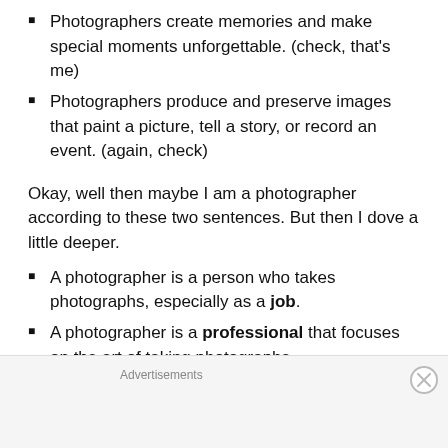Photographers create memories and make special moments unforgettable. (check, that's me)
Photographers produce and preserve images that paint a picture, tell a story, or record an event. (again, check)
Okay, well then maybe I am a photographer according to these two sentences. But then I dove a little deeper.
A photographer is a person who takes photographs, especially as a job.
A photographer is a professional that focuses on the art of taking photographs.
Photographers are artists with a camera.
A photographer is a person who films...
Advertisements